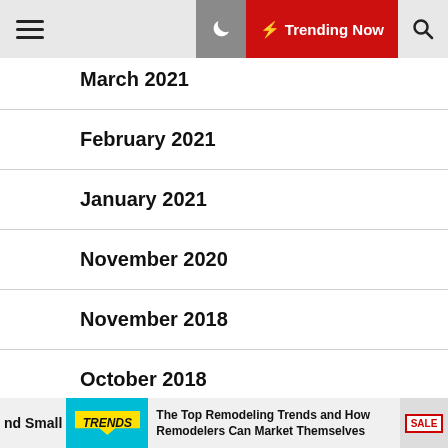Trending Now
March 2021
February 2021
January 2021
November 2020
November 2018
October 2018
December 2016
nd Small | The Top Remodeling Trends and How Remodelers Can Market Themselves | SALE